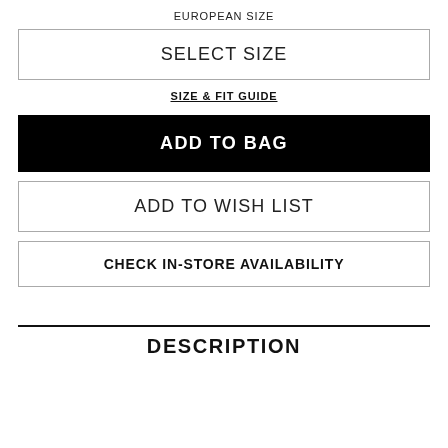EUROPEAN SIZE
SELECT SIZE
SIZE & FIT GUIDE
ADD TO BAG
ADD TO WISH LIST
CHECK IN-STORE AVAILABILITY
DESCRIPTION